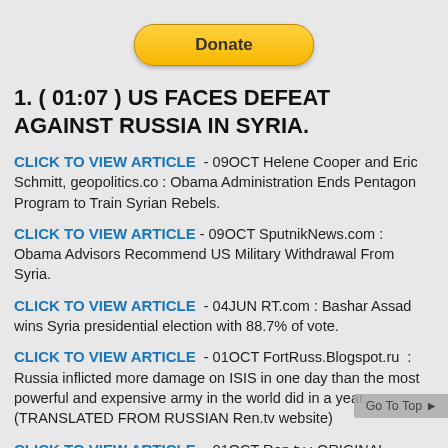[Figure (other): PayPal Donate button]
1. ( 01:07 ) US FACES DEFEAT AGAINST RUSSIA IN SYRIA.
CLICK TO VIEW ARTICLE  - 09OCT Helene Cooper and Eric Schmitt, geopolitics.co : Obama Administration Ends Pentagon Program to Train Syrian Rebels.
CLICK TO VIEW ARTICLE - 09OCT SputnikNews.com : Obama Advisors Recommend US Military Withdrawal From Syria.
CLICK TO VIEW ARTICLE  - 04JUN RT.com : Bashar Assad wins Syria presidential election with 88.7% of vote.
CLICK TO VIEW ARTICLE  - 01OCT FortRuss.Blogspot.ru : Russia inflicted more damage on ISIS in one day than the most powerful and expensive army in the world did in a year. (TRANSLATED FROM RUSSIAN Ren.tv website)
CLICK TO VIEW ARTICLE  - 01OCT Ren.tv : ORIGINAL